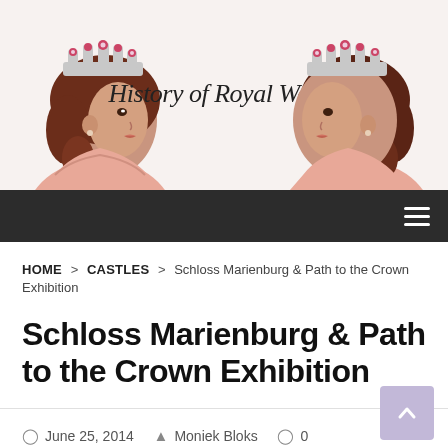[Figure (illustration): Header banner for 'History of Royal Women' blog, showing two illustrated queens wearing crowns facing each other in profile, with the text 'History of Royal Women' in elegant serif font in the center. The queens wear pink/rosy dresses and have brown hair. Background is light.]
≡ (navigation hamburger menu)
HOME > CASTLES > Schloss Marienburg & Path to the Crown Exhibition
Schloss Marienburg & Path to the Crown Exhibition
June 25, 2014   Moniek Bloks   0